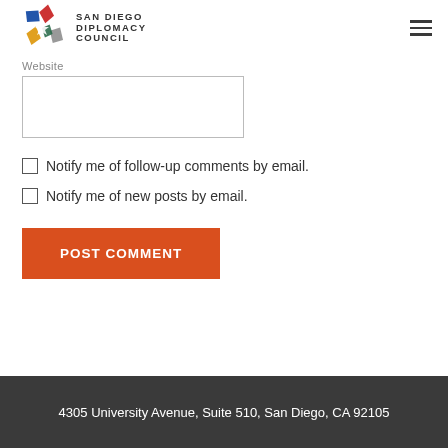San Diego Diplomacy Council
Website
Notify me of follow-up comments by email.
Notify me of new posts by email.
POST COMMENT
4305 University Avenue, Suite 510, San Diego, CA 92105